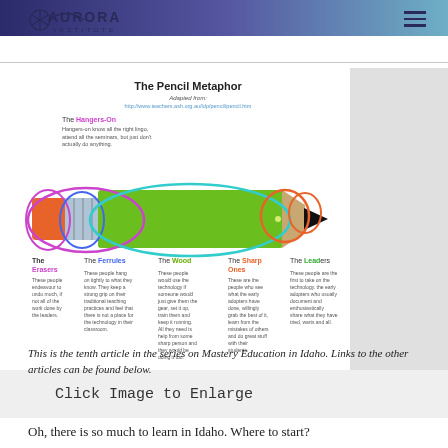Aurora Institute
[Figure (infographic): The Pencil Metaphor infographic showing different teacher types (Hangers-On, Erasers, Ferrules, The Wood, Sharp Ones, Leaders) labeled on parts of a pencil drawing with colored circles and annotations.]
Click Image to Enlarge
This is the tenth article in the series on Mastery Education in Idaho. Links to the other articles can be found below.
Oh, there is so much to learn in Idaho. Where to start?